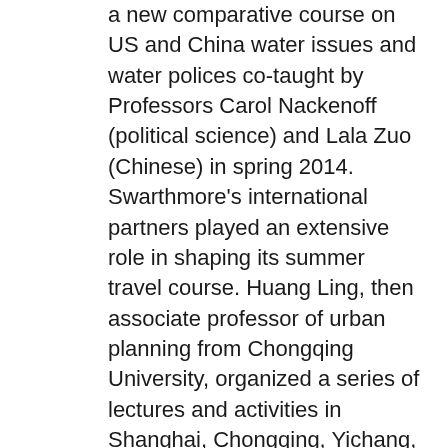a new comparative course on US and China water issues and water polices co-taught by Professors Carol Nackenoff (political science) and Lala Zuo (Chinese) in spring 2014. Swarthmore's international partners played an extensive role in shaping its summer travel course. Huang Ling, then associate professor of urban planning from Chongqing University, organized a series of lectures and activities in Shanghai, Chongqing, Yichang, and Chengdu (including Professor Huang's own lecture on engaging local communities in the planning of mixed-use urban design projects). Other activities included a tour organized by the Shanghai Research Institute of one of the most highly energy-efficient buildings in Shanghai and a trip to the Dujiangyan in Sichuan Province, the 2,200-year-old ancient irrigation and flood control system. The Luce Foundation's flexibility was essential, allowing Swarthmore to extend its exploration grant and prevent a disruption in preparations for our next course on tea while awaiting a decision on the pending Tri-Co LIASE implementation grant proposal. Course development funds were used for travel to Hangzhou and Taipei to firm up plans for activities including tea tasting, lectures on